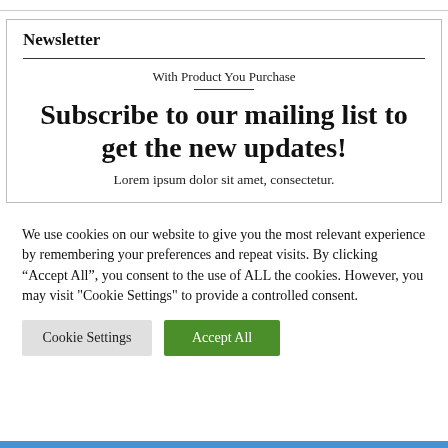Newsletter
With Product You Purchase
Subscribe to our mailing list to get the new updates!
Lorem ipsum dolor sit amet, consectetur.
We use cookies on our website to give you the most relevant experience by remembering your preferences and repeat visits. By clicking “Accept All”, you consent to the use of ALL the cookies. However, you may visit "Cookie Settings" to provide a controlled consent.
Cookie Settings
Accept All